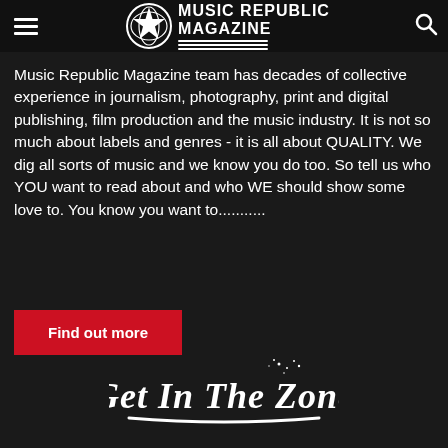Music Republic Magazine
Music Republic Magazine team has decades of collective experience in journalism, photography, print and digital publishing, film production and the music industry. It is not so much about labels and genres - it is all about QUALITY. We dig all sorts of music and we know you do too. So tell us who YOU want to read about and who WE should show some love to. You know you want to...........
Find out more
[Figure (illustration): Get In The Zone stylized hand-drawn text logo in white on dark background]